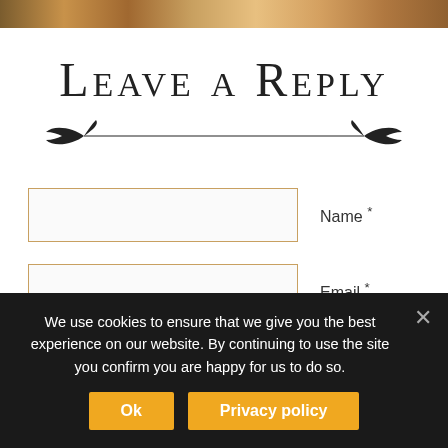[Figure (photo): Partial header image showing a warm-toned scene at the top of the page]
Leave a Reply
[Figure (illustration): Decorative horizontal divider with ornamental bird-like flourishes on each end]
Name *
Email *
We use cookies to ensure that we give you the best experience on our website. By continuing to use the site you confirm you are happy for us to do so.
Ok
Privacy policy